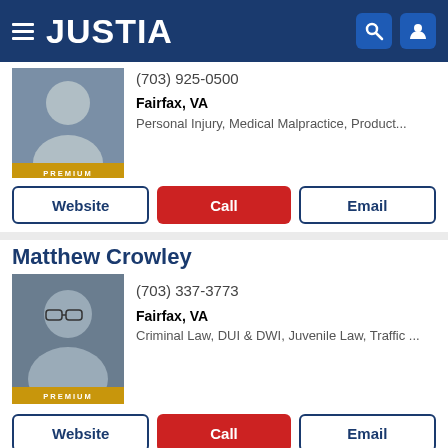[Figure (screenshot): Justia website header with hamburger menu, JUSTIA logo, search and user icons on dark blue background]
(703) 925-0500
Fairfax, VA
Personal Injury, Medical Malpractice, Product...
Website | Call | Email
Matthew Crowley
[Figure (photo): Professional headshot of Matthew Crowley, a man with glasses and a beard wearing a suit, with PREMIUM badge]
(703) 337-3773
Fairfax, VA
Criminal Law, DUI & DWI, Juvenile Law, Traffic ...
Website | Call | Email
Merritt James Green PRO